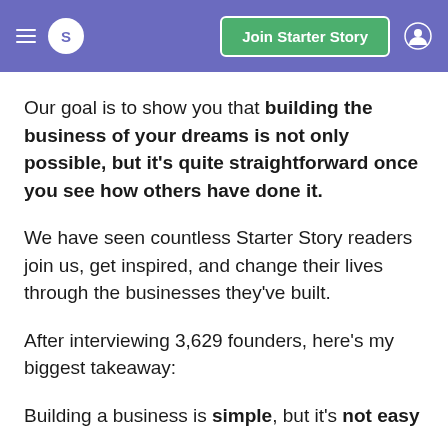S | Join Starter Story
Our goal is to show you that building the business of your dreams is not only possible, but it's quite straightforward once you see how others have done it.
We have seen countless Starter Story readers join us, get inspired, and change their lives through the businesses they've built.
After interviewing 3,629 founders, here's my biggest takeaway:
Building a business is simple, but it's not easy